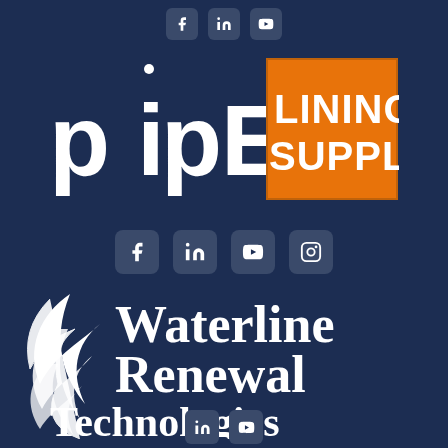[Figure (logo): Top social media icons row: Facebook, LinkedIn, YouTube]
[Figure (logo): Pipe Lining Supply logo with white PIPE text and orange LINING SUPPLY box]
[Figure (logo): Middle social media icons: Facebook, LinkedIn, YouTube, Instagram]
[Figure (logo): Waterline Renewal Technologies logo with white swoosh and serif text]
[Figure (logo): Bottom social media icons: LinkedIn, YouTube]